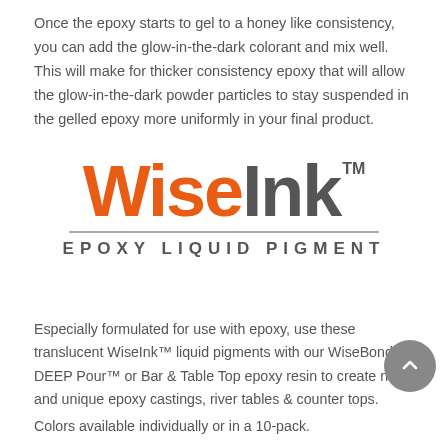Once the epoxy starts to gel to a honey like consistency, you can add the glow-in-the-dark colorant and mix well. This will make for thicker consistency epoxy that will allow the glow-in-the-dark powder particles to stay suspended in the gelled epoxy more uniformly in your final product.
[Figure (logo): WiseInk Epoxy Liquid Pigment logo — 'Wise' in orange bold, 'Ink' in dark gray bold, with TM superscript, a horizontal rule, and 'EPOXY LIQUID PIGMENT' subtitle in spaced dark gray caps]
Especially formulated for use with epoxy, use these translucent WiseInk™ liquid pigments with our WiseBond™ DEEP Pour™ or Bar & Table Top epoxy resin to create new and unique epoxy castings, river tables & counter tops.
Colors available individually or in a 10-pack.